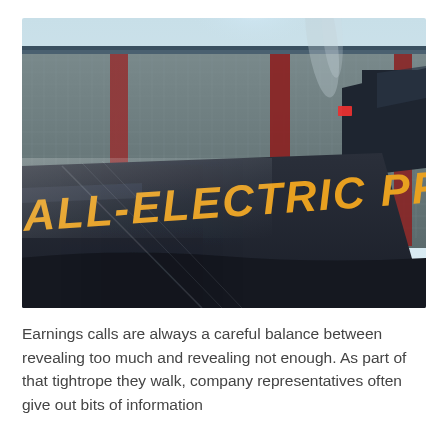[Figure (photo): Close-up photo of a dark-colored semi-truck trailer with large bold yellow text reading 'ALL-ELECTRIC PROTOTYPE' on its side. Behind the truck is an industrial building with a metal mesh/perforated facade and red structural columns. The sky is light blue. There is a red reflector visible on the upper right of the trailer.]
Earnings calls are always a careful balance between revealing too much and revealing not enough. As part of that tightrope they walk, company representatives often give out bits of information